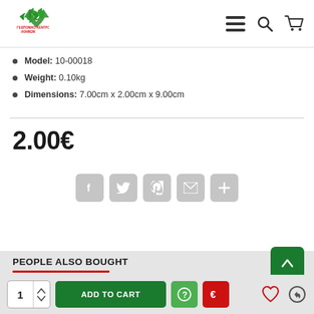[Figure (logo): Γεωπονικό Κέντρο Αθηνών logo - recycling symbol in green with red text below]
Model: 10-00018
Weight: 0.10kg
Dimensions: 7.00cm x 2.00cm x 9.00cm
2.00€
[Figure (infographic): Social share buttons: Facebook, Twitter, Pinterest, Email, Plus]
PEOPLE ALSO BOUGHT
ADD TO CART